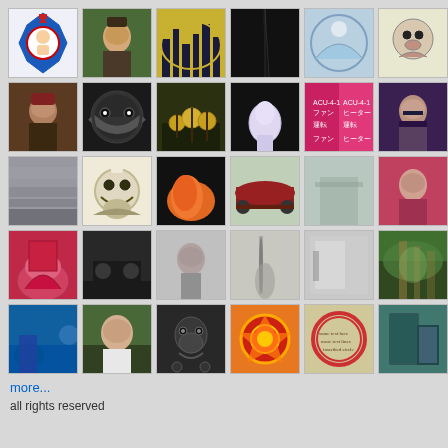[Figure (photo): Grid of 30 thumbnail photos/illustrations arranged in 5 rows of 6 columns, showing various subjects: cartoon character, person, cityscape, dark texture, decorative pattern, cartoon face, person with hat, spiky cartoon character, yellow flowers, cartoon alien, Japanese signs, person with glasses, ocean waves, skull drawing, pumpkin, red car, blurry landscape, person profile, screaming mouth, dark landscape, black-and-white portrait, standing person silhouette, door/shadow, person on ladder in landscape, musician on stage, older man outdoors, skull creature, fiery character on orange background, circular text motif, gondola in Venice]
more...
all rights reserved